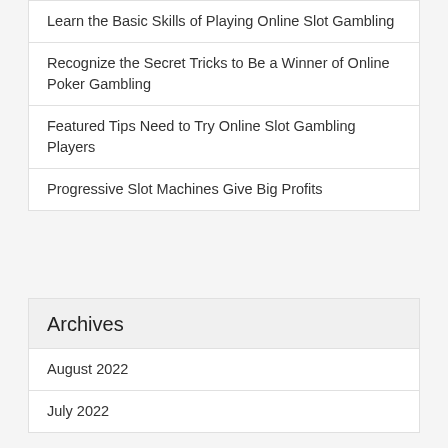Learn the Basic Skills of Playing Online Slot Gambling
Recognize the Secret Tricks to Be a Winner of Online Poker Gambling
Featured Tips Need to Try Online Slot Gambling Players
Progressive Slot Machines Give Big Profits
Archives
August 2022
July 2022